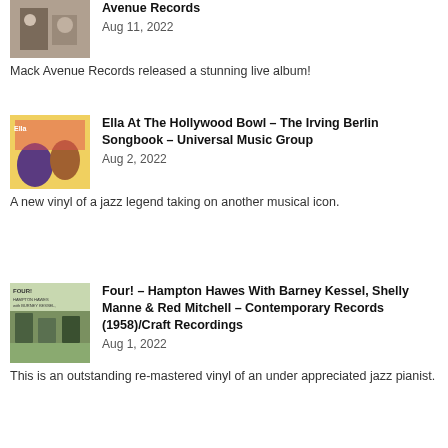[Figure (photo): Album cover thumbnail for Mack Avenue Records article]
Avenue Records
Aug 11, 2022
Mack Avenue Records released a stunning live album!
[Figure (photo): Album cover for Ella At The Hollywood Bowl – The Irving Berlin Songbook]
Ella At The Hollywood Bowl – The Irving Berlin Songbook – Universal Music Group
Aug 2, 2022
A new vinyl of a jazz legend taking on another musical icon.
[Figure (photo): Album cover for Four! – Hampton Hawes With Barney Kessel, Shelly Manne & Red Mitchell]
Four! – Hampton Hawes With Barney Kessel, Shelly Manne & Red Mitchell – Contemporary Records (1958)/Craft Recordings
Aug 1, 2022
This is an outstanding re-mastered vinyl of an under appreciated jazz pianist.